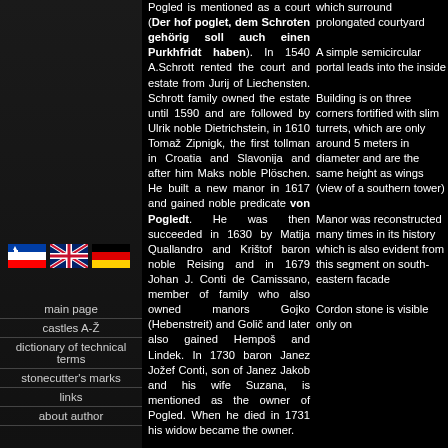[Figure (illustration): Three national flags: Slovenia, United Kingdom, Germany]
main page
castles A-Ž
dictionary of technical terms
stonecutter's marks
links
about author
Pogled is mentioned as a court (Der hof poglet, dem Schroten gehörig soll auch einen Purkhfridt haben). In 1540 A.Schrott rented the court and estate from Jurij of Liechensten. Schrott family owned the estate until 1590 and are followed by Ulrik noble Dietrichstein, in 1610 Tomaž Zipnigk, the first tollman in Croatia and Slavonija and after him Maks noble Plöschen. He built a new manor in 1617 and gained noble predicate von Pogledt. He was then succeeded in 1630 by Matija Quallandro and Krištof baron noble Reising and in 1679 Johan J. Conti de Camissano, member of family who also owned manors Gojko (Hebenstreit) and Golič and later also gained Hempoš and Lindek. In 1730 baron Janez Jožef Conti, son of Janez Jakob and his wife Suzana, is mentioned as the owner of Pogled. When he died in 1731 his widow became the owner.
which surround prolongated courtyard
A simple semicircular portal leads into the inside
Building is on three corners fortified with slim turrets, which are only around 5 meters in diameter and are the same height as wings (view of a southern tower)
Manor was reconstructed many times in its history which is also evident from this segment on south-eastern facade
Cordon stone is visible only on